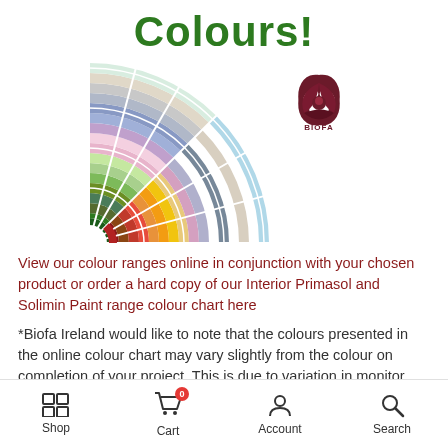Colours!
[Figure (illustration): A fan-shaped colour swatch palette showing a wide range of paint colours arranged in arcs, with the Biofa logo (stylized flame/leaf in dark red) in the upper right area of the image.]
View our colour ranges online in conjunction with your chosen product or order a hard copy of our Interior Primasol and Solimin Paint range colour chart here
*Biofa Ireland would like to note that the colours presented in the online colour chart may vary slightly from the colour on completion of your project. This is due to variation in monitor
Shop  Cart  Account  Search